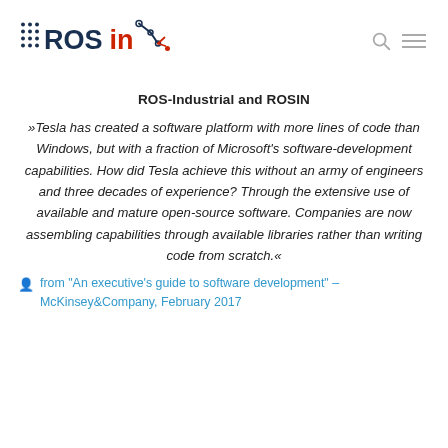ROSin logo with search and menu icons
ROS-Industrial and ROSIN
»Tesla has created a software platform with more lines of code than Windows, but with a fraction of Microsoft's software-development capabilities. How did Tesla achieve this without an army of engineers and three decades of experience? Through the extensive use of available and mature open-source software. Companies are now assembling capabilities through available libraries rather than writing code from scratch.«
from "An executive's guide to software development" – McKinsey&Company, February 2017